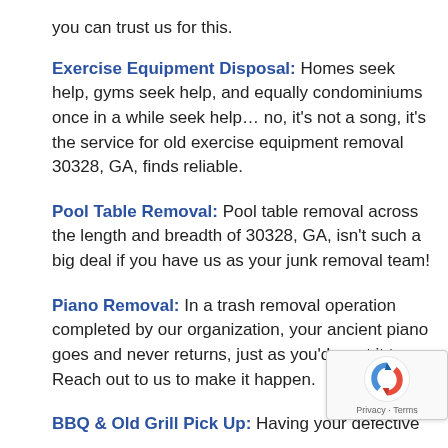you can trust us for this.
Exercise Equipment Disposal: Homes seek help, gyms seek help, and equally condominiums once in a while seek help… no, it's not a song, it's the service for old exercise equipment removal 30328, GA, finds reliable.
Pool Table Removal: Pool table removal across the length and breadth of 30328, GA, isn't such a big deal if you have us as your junk removal team!
Piano Removal: In a trash removal operation completed by our organization, your ancient piano goes and never returns, just as you'd want it to. Reach out to us to make it happen.
BBQ & Old Grill Pick Up: Having your defective